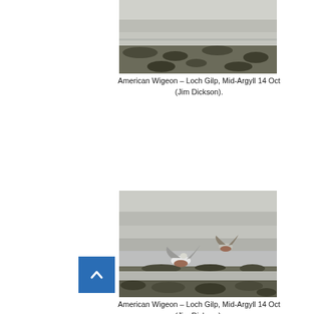[Figure (photo): Photo of American Wigeon birds at Loch Gilp, Mid-Argyll, showing rocky shoreline with seaweed and water in background]
American Wigeon – Loch Gilp, Mid-Argyll 14 Oct (Jim Dickson).
[Figure (photo): Photo of American Wigeon birds in flight at Loch Gilp, Mid-Argyll, showing two birds taking off from rocky tidal mudflat with seaweed]
American Wigeon – Loch Gilp, Mid-Argyll 14 Oct (Jim Dickson).